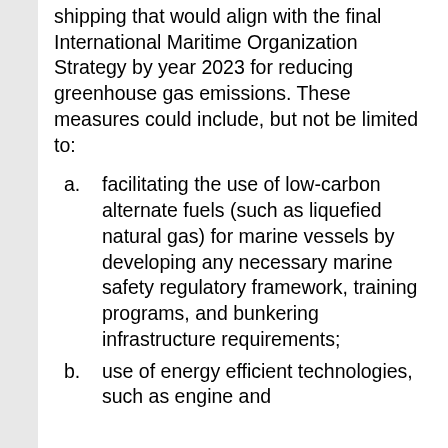shipping that would align with the final International Maritime Organization Strategy by year 2023 for reducing greenhouse gas emissions. These measures could include, but not be limited to:
a. facilitating the use of low-carbon alternate fuels (such as liquefied natural gas) for marine vessels by developing any necessary marine safety regulatory framework, training programs, and bunkering infrastructure requirements;
b. use of energy efficient technologies, such as engine and